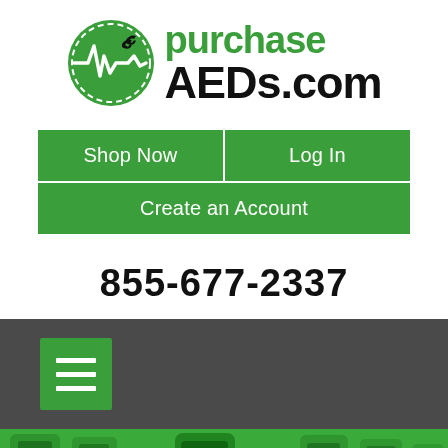[Figure (logo): purchaseAEDs.com logo with green circle containing ECG heartbeat line and text 'purchase AEDs.com']
Shop Now
Log In
Create an Account
855-677-2337
[Figure (screenshot): Dark gray navigation bar with green hamburger menu button]
[Figure (photo): Green tinted photo of various AED defibrillator devices]
The Blog